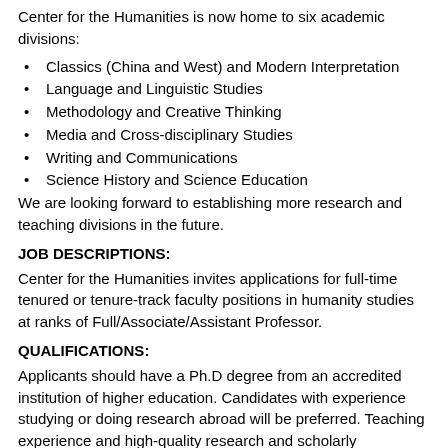Center for the Humanities is now home to six academic divisions:
Classics (China and West) and Modern Interpretation
Language and Linguistic Studies
Methodology and Creative Thinking
Media and Cross-disciplinary Studies
Writing and Communications
Science History and Science Education
We are looking forward to establishing more research and teaching divisions in the future.
JOB DESCRIPTIONS:
Center for the Humanities invites applications for full-time tenured or tenure-track faculty positions in humanity studies at ranks of Full/Associate/Assistant Professor.
QUALIFICATIONS:
Applicants should have a Ph.D degree from an accredited institution of higher education. Candidates with experience studying or doing research abroad will be preferred. Teaching experience and high-quality research and scholarly publications are both required. As a university of science and technology, the candidates' ability and